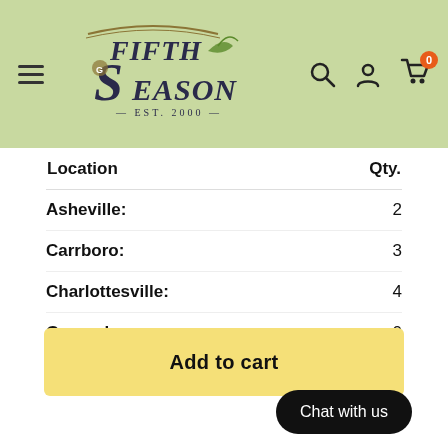[Figure (logo): Fifth Season gardening store logo with decorative font and EST. 2000 text, on light green header bar with hamburger menu, search, account, and cart icons]
| Location | Qty. |
| --- | --- |
| Asheville: | 2 |
| Carrboro: | 3 |
| Charlottesville: | 4 |
| Greensboro: | 0 |
| Pittsboro Warehouse: | 0 |
Add to cart
Chat with us